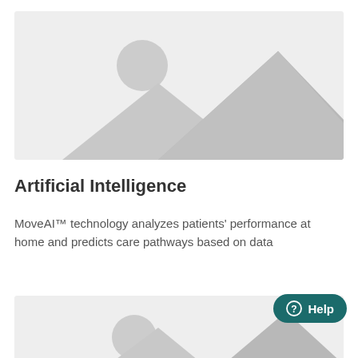[Figure (illustration): Placeholder image with mountain landscape silhouette and sun/moon circle icon on light gray background]
Artificial Intelligence
MoveAI™ technology analyzes patients' performance at home and predicts care pathways based on data
[Figure (illustration): Partial placeholder image with mountain landscape silhouette and circle icon on light gray background, partially visible at bottom of page]